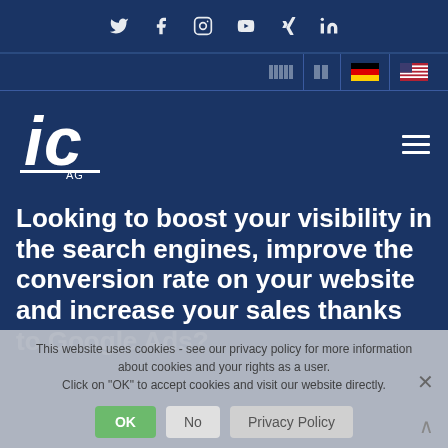[Figure (logo): ic AG company logo — stylized italic 'ic' letters in white with 'AG' text below, on dark blue background]
Looking to boost your visibility in the search engines, improve the conversion rate on your website and increase your sales thanks to Google Ads?
This website uses cookies - see our privacy policy for more information about cookies and your rights as a user. Click on "OK" to accept cookies and visit our website directly.